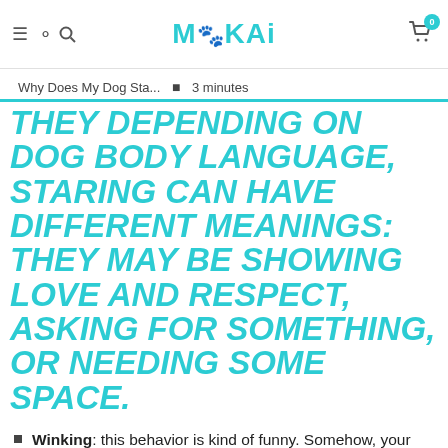Mokai — navigation header with logo, hamburger, search, and cart (0 items)
Why Does My Dog Sta... • 3 minutes
THEY DEPENDING ON DOG BODY LANGUAGE, STARING CAN HAVE DIFFERENT MEANINGS: THEY MAY BE SHOWING LOVE AND RESPECT, ASKING FOR SOMETHING, OR NEEDING SOME SPACE.
Winking: this behavior is kind of funny. Somehow, your dog manages to wink one